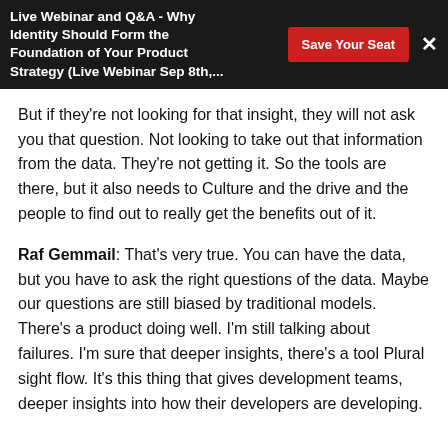Live Webinar and Q&A - Why Identity Should Form the Foundation of Your Product Strategy (Live Webinar Sep 8th,...
But if they're not looking for that insight, they will not ask you that question. Not looking to take out that information from the data. They're not getting it. So the tools are there, but it also needs to Culture and the drive and the people to find out to really get the benefits out of it.
Raf Gemmail: That's very true. You can have the data, but you have to ask the right questions of the data. Maybe our questions are still biased by traditional models. There's a product doing well. I'm still talking about failures. I'm sure that deeper insights, there's a tool Plural sight flow. It's this thing that gives development teams, deeper insights into how their developers are developing.